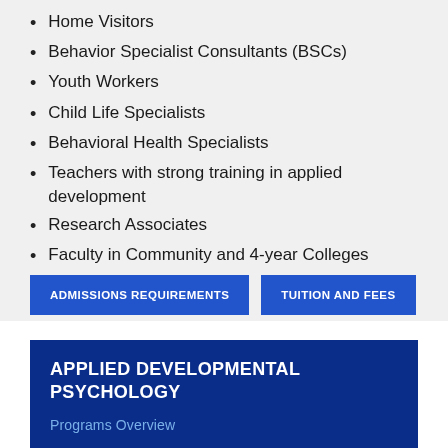Home Visitors
Behavior Specialist Consultants (BSCs)
Youth Workers
Child Life Specialists
Behavioral Health Specialists
Teachers with strong training in applied development
Research Associates
Faculty in Community and 4-year Colleges
Child Protective Services
ADMISSIONS REQUIREMENTS
TUITION AND FEES
APPLIED DEVELOPMENTAL PSYCHOLOGY
Programs Overview